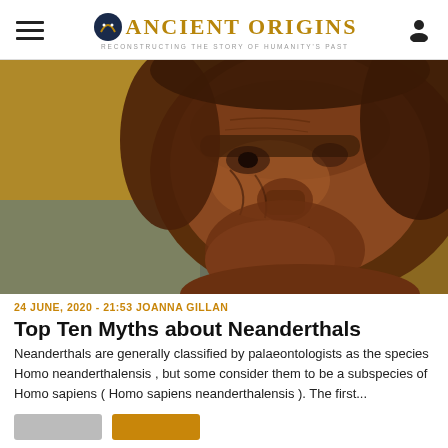Ancient Origins — Reconstructing the story of humanity's past
[Figure (photo): Close-up reconstruction of a Neanderthal man's face, showing rugged skin, reddish-brown hair and beard, against a blurred background.]
24 JUNE, 2020 · 21:53 JOANNA GILLAN
Top Ten Myths about Neanderthals
Neanderthals are generally classified by palaeontologists as the species Homo neanderthalensis , but some consider them to be a subspecies of Homo sapiens ( Homo sapiens neanderthalensis ). The first...